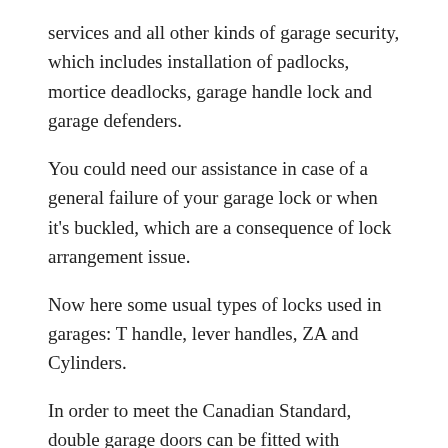services and all other kinds of garage security, which includes installation of padlocks, mortice deadlocks, garage handle lock and garage defenders.
You could need our assistance in case of a general failure of your garage lock or when it's buckled, which are a consequence of lock arrangement issue.
Now here some usual types of locks used in garages: T handle, lever handles, ZA and Cylinders.
In order to meet the Canadian Standard, double garage doors can be fitted with mortice deadlocks. We can also make upgrades in your existing one, depends on your requirements.
PADLOCKS WITH HASP AND STAPLE
The fitting of padlocks with hasp and staple will provide